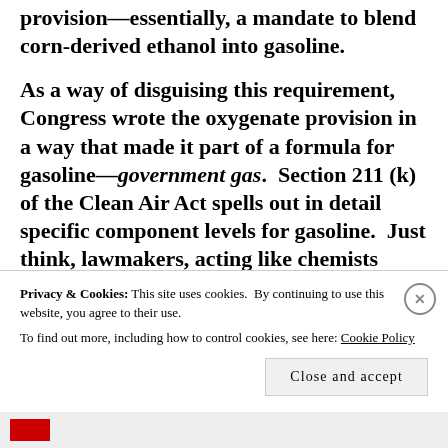provision—essentially, a mandate to blend corn-derived ethanol into gasoline.
As a way of disguising this requirement, Congress wrote the oxygenate provision in a way that made it part of a formula for gasoline—government gas. Section 211 (k) of the Clean Air Act spells out in detail specific component levels for gasoline. Just think, lawmakers, acting like chemists
Privacy & Cookies: This site uses cookies. By continuing to use this website, you agree to their use.
To find out more, including how to control cookies, see here: Cookie Policy
Close and accept